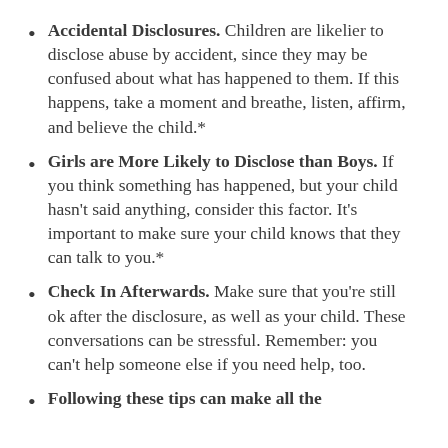Accidental Disclosures. Children are likelier to disclose abuse by accident, since they may be confused about what has happened to them. If this happens, take a moment and breathe, listen, affirm, and believe the child.*
Girls are More Likely to Disclose than Boys. If you think something has happened, but your child hasn't said anything, consider this factor. It's important to make sure your child knows that they can talk to you.*
Check In Afterwards. Make sure that you're still ok after the disclosure, as well as your child. These conversations can be stressful. Remember: you can't help someone else if you need help, too.
Following these tips can make all the